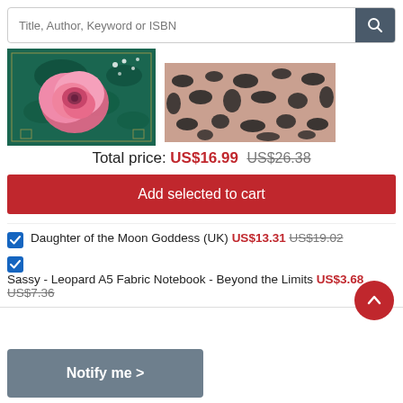[Figure (screenshot): Search bar with placeholder text 'Title, Author, Keyword or ISBN' and a dark search icon button on the right]
[Figure (photo): Two product images: left is a floral (peony) book cover on dark green background, right is a leopard print fabric notebook cover in pink and black]
Total price: US$16.99  US$26.38
[Figure (screenshot): Red 'Add selected to cart' button]
Daughter of the Moon Goddess (UK)  US$13.31  US$19.02
Sassy - Leopard A5 Fabric Notebook - Beyond the Limits  US$3.68  US$7.36
[Figure (screenshot): Red circular scroll-to-top button with upward chevron]
[Figure (screenshot): Grey 'Notify me >' button at bottom left]